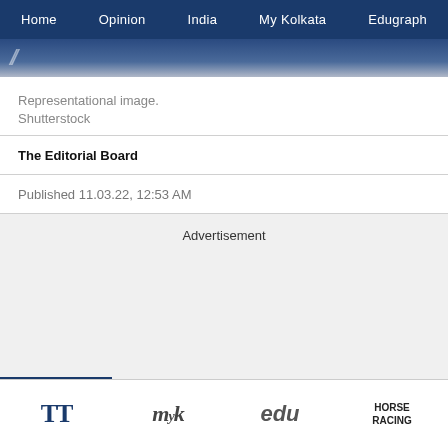Home   Opinion   India   My Kolkata   Edugraph
[Figure (photo): Partial image strip with blue/grey background and stylized slash marks]
Representational image. Shutterstock
The Editorial Board
Published 11.03.22, 12:53 AM
Advertisement
TT   MyK   edu   HORSE RACING